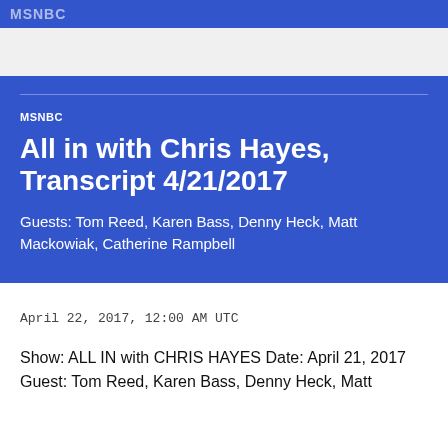MSNBC
All in with Chris Hayes, Transcript 4/21/2017
Guests: Tom Reed, Karen Bass, Denny Heck, Matt Mackowiak, Catherine Rampbell
April 22, 2017, 12:00 AM UTC
Show: ALL IN with CHRIS HAYES Date: April 21, 2017 Guest: Tom Reed, Karen Bass, Denny Heck, Matt